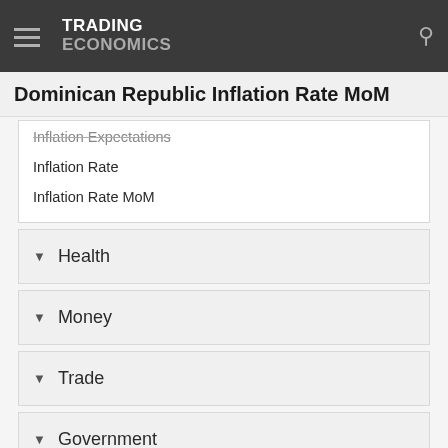TRADING ECONOMICS
Dominican Republic Inflation Rate MoM
Inflation Expectations
Inflation Rate
Inflation Rate MoM
Health
Money
Trade
Government
Business
Consumer